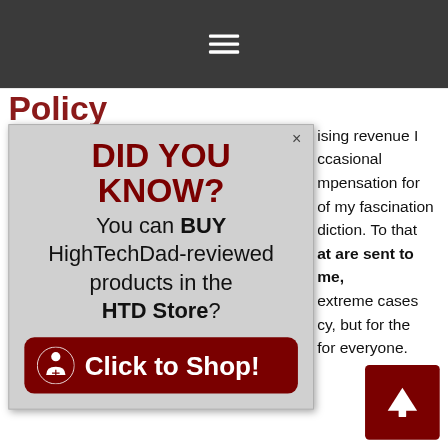☰ (hamburger menu icon)
Policy
[Figure (screenshot): Popup advertisement with dark gray background. Header reads 'DID YOU KNOW?' in large dark red bold text. Body text reads 'You can BUY HighTechDad-reviewed products in the HTD Store?'. Below is a dark red rounded button with a person/cart icon and text 'Click to Shop!'. A close 'x' appears in upper right corner of popup.]
ising revenue I ccasional mpensation for of my fascination diction. To that at are sent to me, extreme cases cy, but for the for everyone.
It takes time to write an intelligent and unique review. I spend, on average, a few hours writing the time it takes to take product shots, do video evaluate and test the product itself. Finding time to do